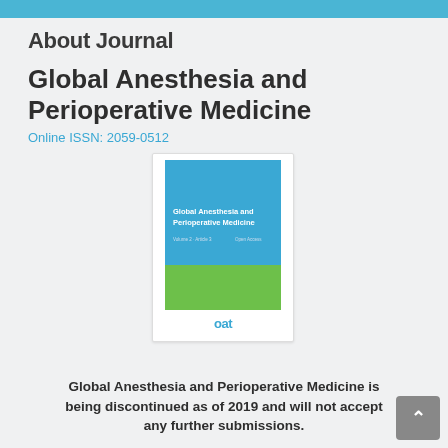About Journal
Global Anesthesia and Perioperative Medicine
Online ISSN: 2059-0512
[Figure (illustration): Journal cover image for Global Anesthesia and Perioperative Medicine, published by OAT. Cover shows blue and green color blocks with journal title text.]
Global Anesthesia and Perioperative Medicine is being discontinued as of 2019 and will not accept any further submissions.